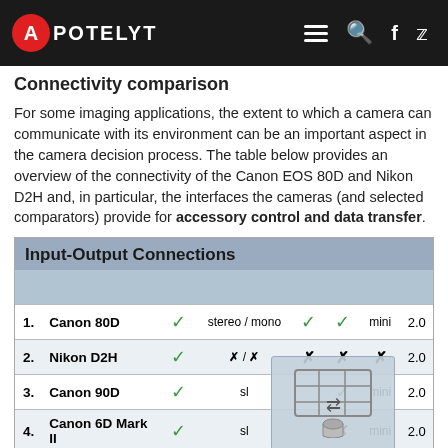APOTELYT
Connectivity comparison
For some imaging applications, the extent to which a camera can communicate with its environment can be an important aspect in the camera decision process. The table below provides an overview of the connectivity of the Canon EOS 80D and Nikon D2H and, in particular, the interfaces the cameras (and selected comparators) provide for accessory control and data transfer.
| # | Camera | USB | Audio | Wifi | BT | HDMI | USB ver |
| --- | --- | --- | --- | --- | --- | --- | --- |
| 1. | Canon 80D | ✓ | stereo / mono | ✓ | ✓ | mini | 2.0 |
| 2. | Nikon D2H | ✓ | ✗ / ✗ | ✗ | ✗ | ✗ | 2.0 |
| 3. | Canon 90D | ✓ | sl | ✓ | ✓ | mini | 2.0 |
| 4. | Canon 6D Mark II | ✓ | sl | ✓ | ✗ | mini | 2.0 |